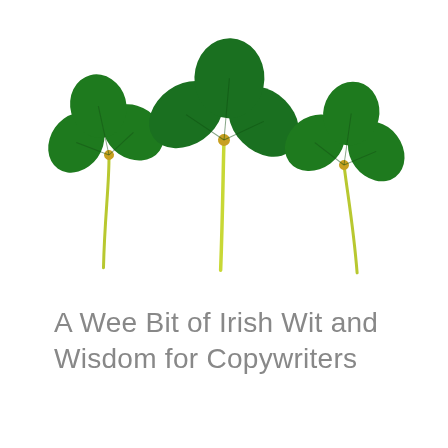[Figure (illustration): Three green shamrock/clover leaves with stems on a white background. The center shamrock is the tallest and largest, positioned in the middle. A smaller shamrock is on the left, slightly shorter. Another shamrock is on the right, similar in size to the left one. All three have light yellow-green stems trailing down.]
A Wee Bit of Irish Wit and Wisdom for Copywriters